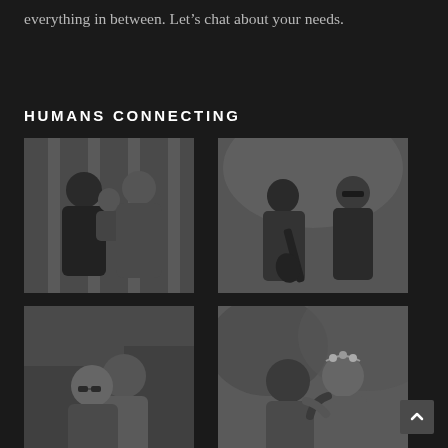everything in between. Let’s chat about your needs.
HUMANS CONNECTING
[Figure (photo): Black and white photo of a man and woman holding a baby, posing in front of a corrugated metal fence]
[Figure (photo): Black and white photo of two musicians on stage, one playing electric guitar, both leaning toward each other]
[Figure (photo): Black and white photo of two men embracing and smiling at the camera]
[Figure (photo): Black and white photo of two women hugging, one wearing a flower crown]